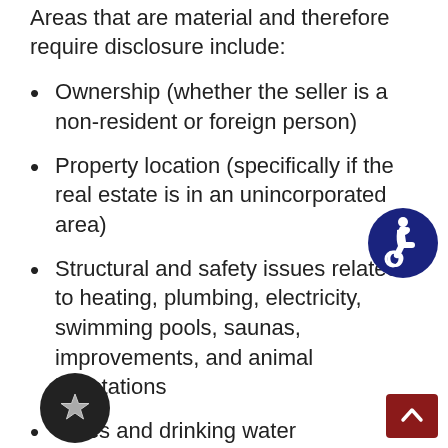Areas that are material and therefore require disclosure include:
Ownership (whether the seller is a non-resident or foreign person)
Property location (specifically if the real estate is in an unincorporated area)
Structural and safety issues related to heating, plumbing, electricity, swimming pools, saunas, improvements, and animal infestations
Utilities and drinking water
Environmental issues related to soil
[Figure (illustration): Accessibility icon — blue circle with white wheelchair user symbol]
[Figure (illustration): Dark red back-to-top button with white upward chevron arrow]
[Figure (illustration): Black circular star/bookmark button with white star icon]